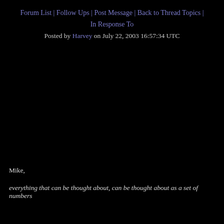Forum List | Follow Ups | Post Message | Back to Thread Topics | In Response To
Posted by Harvey on July 22, 2003 16:57:34 UTC
Mike,
everything that can be thought about, can be thought about as a set of numbers